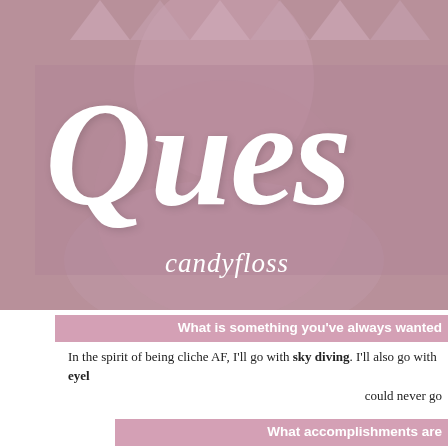[Figure (photo): Background photo of a person in a pink/mauve lacy dress, with a semi-transparent mauve overlay box and large white italic script text reading 'Ques' (partially cropped) and cursive subtitle text 'candyfloss' (partially cropped)]
What is something you've always wanted
In the spirit of being cliche AF, I'll go with sky diving. I'll also go with eyel... could never go
What accomplishments are
The normal ones: Graduating college, job promotions, etc. But the little ... paying for my entire life all by myself, the time I successfully threw away t... wear. All of that